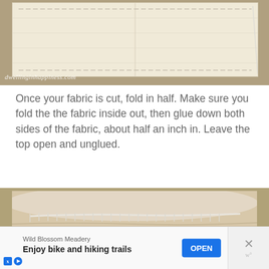[Figure (photo): Close-up photo of beige/cream fabric folded and laid flat on a tan/grey surface, showing stitching lines and a needle with thread on the right side. Watermark reads dwellinginhappiness.com]
Once your fabric is cut, fold in half. Make sure you fold the the fabric inside out, then glue down both sides of the fabric, about half an inch in. Leave the top open and unglued.
[Figure (photo): Close-up photo of beige fabric edge showing stitching/serging along the edge, fabric folded with visible seam detail]
Wild Blossom Meadery
Enjoy bike and hiking trails